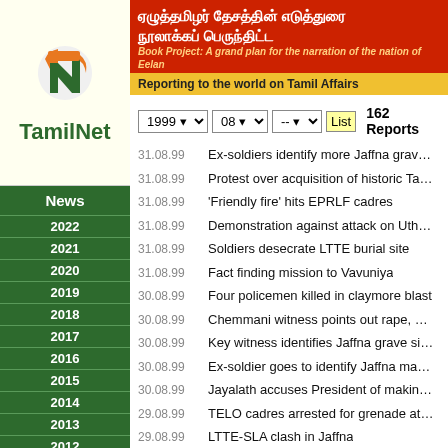[Figure (logo): TamilNet logo with stylized T and N letters in orange and green]
ஏழுத்தமிழர் தேசத்தின் எடுத்துரை நூலாக்கப் பெருந்திட்ட
Book Project: A grand plan for the narration of the nation of Eelan
Reporting to the world on Tamil Affairs
News
2022
2021
2020
2019
2018
2017
2016
2015
2014
2013
2012
2011
2010
2009
2008
2007
2006
2005
2004
2003
2002
2001
2000
1999
1999 | 08 | -- | List | 162 Reports
31.08.99 - Ex-soldiers identify more Jaffna grave sites
31.08.99 - Protest over acquisition of historic Tamil temples
31.08.99 - 'Friendly fire' hits EPRLF cadres
31.08.99 - Demonstration against attack on Uthayan
31.08.99 - Soldiers desecrate LTTE burial site
31.08.99 - Fact finding mission to Vavuniya
30.08.99 - Four policemen killed in claymore blast
30.08.99 - Chemmani witness points out rape, murder scene
30.08.99 - Key witness identifies Jaffna grave sites
30.08.99 - Ex-soldier goes to identify Jaffna mass graves
30.08.99 - Jayalath accuses President of making false allegat...
29.08.99 - TELO cadres arrested for grenade attack
29.08.99 - LTTE-SLA clash in Jaffna
29.08.99 - GA's driver arrested
29.08.99 - Muslim protesters jeer UNP leader
28.08.99 - Four University students arrested
28.08.99 - Detained soldiers stage roof protest
28.08.99 - PLOTE calls Hostel in Vavuniya